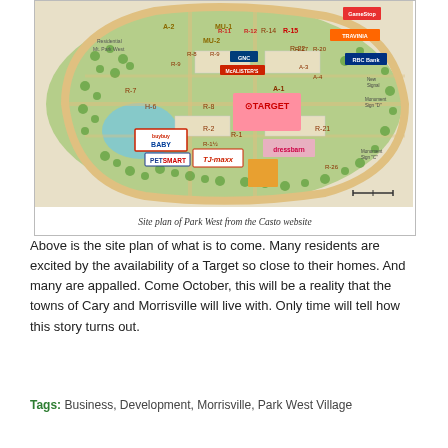[Figure (map): Site plan map of Park West Village showing retail stores including Target, buybuy BABY, PetSmart, TJ Maxx, dressbarn, GNC, RBC Bank, TRAVINIA and others, with parking areas, roads, and zoning labels.]
Site plan of Park West from the Casto website
Above is the site plan of what is to come. Many residents are excited by the availability of a Target so close to their homes. And many are appalled. Come October, this will be a reality that the towns of Cary and Morrisville will live with. Only time will tell how this story turns out.
Tags: Business, Development, Morrisville, Park West Village